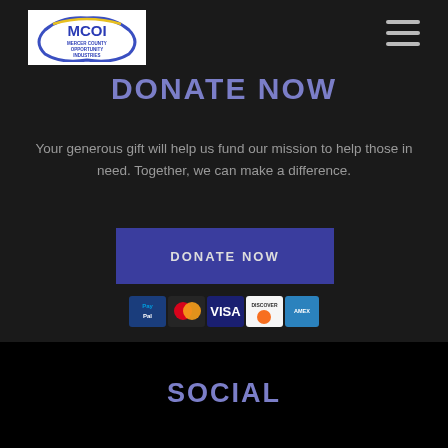[Figure (logo): MCOI Mercer County Opportunity Industries logo, white background with blue and yellow text]
[Figure (other): Hamburger menu icon, three horizontal gray lines]
DONATE NOW
Your generous gift will help us fund our mission to help those in need. Together, we can make a difference.
[Figure (other): Blue DONATE NOW button]
[Figure (other): Payment icons: PayPal, MasterCard, Visa, Discover, American Express]
SOCIAL